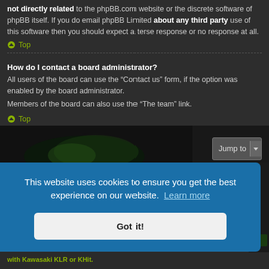not directly related to the phpBB.com website or the discrete software of phpBB itself. If you do email phpBB Limited about any third party use of this software then you should expect a terse response or no response at all.
⌃ Top
How do I contact a board administrator?
All users of the board can use the “Contact us” form, if the option was enabled by the board administrator.
Members of the board can also use the “The team” link.
⌃ Top
[Figure (screenshot): Dark banner image with green motorcycle graphic and 'Jump to' dropdown button on the right]
H2SXRiders.net ‹ Forum Home    Delete cookies  All times are UTC
This website uses cookies to ensure you get the best experience on our website. Learn more
Got it!
with Kawasaki KLR or KHit.